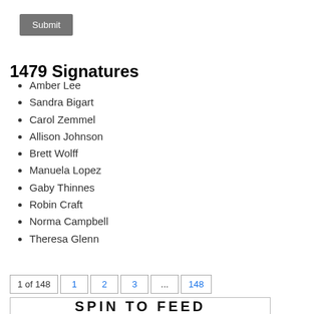Submit
1479 Signatures
Amber Lee
Sandra Bigart
Carol Zemmel
Allison Johnson
Brett Wolff
Manuela Lopez
Gaby Thinnes
Robin Craft
Norma Campbell
Theresa Glenn
1 of 148  1  2  3  ...  148
SPIN TO FEED